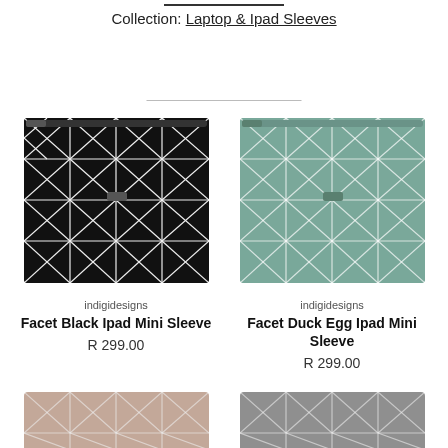Collection: Laptop & Ipad Sleeves
[Figure (photo): Facet Black Ipad Mini Sleeve - black geometric pattern sleeve with white grid/star design]
indigidesigns
Facet Black Ipad Mini Sleeve
R 299.00
[Figure (photo): Facet Duck Egg Ipad Mini Sleeve - teal/green geometric pattern sleeve with white grid/star design]
indigidesigns
Facet Duck Egg Ipad Mini Sleeve
R 299.00
[Figure (photo): Partial view of a pink/beige geometric pattern sleeve at bottom left]
[Figure (photo): Partial view of a grey geometric pattern sleeve at bottom right]